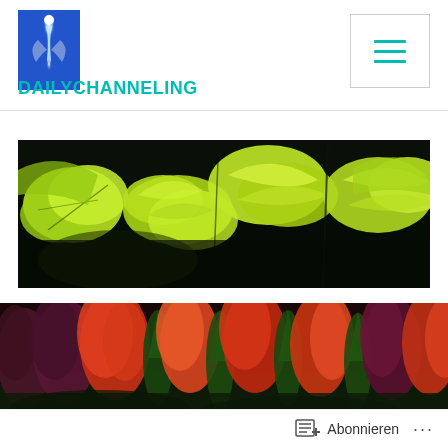[Figure (logo): DAILYCHANNELING website logo: a blue and white glowing figure/light beam icon]
DAILYCHANNELING
[Figure (other): Hamburger menu button with three horizontal teal lines inside a bordered box]
[Figure (photo): Panoramic photo of sunlit bright green maple leaves against a dark background]
[Figure (photo): Panoramic photo of an autumn forest with colorful red, orange, purple and green trees]
Abonnieren
...